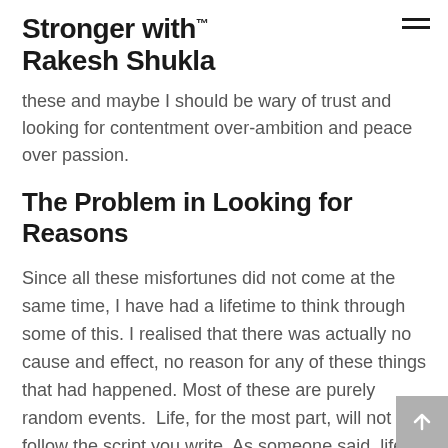Stronger with™ Rakesh Shukla
these and maybe I should be wary of trust and looking for contentment over-ambition and peace over passion.
The Problem in Looking for Reasons
Since all these misfortunes did not come at the same time, I have had a lifetime to think through some of this. I realised that there was actually no cause and effect, no reason for any of these things that had happened. Most of these are purely random events.  Life, for the most part, will not follow the script you write. As someone said, life is already happening to you when you are looking